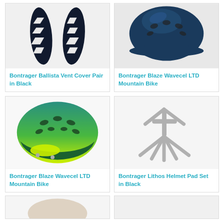[Figure (photo): Bontrager Ballista Vent Cover Pair in Black - two black elongated vent covers with white chevron cutouts]
Bontrager Ballista Vent Cover Pair in Black
[Figure (photo): Bontrager Blaze Wavecel LTD Mountain Bike helmet in dark navy blue color]
Bontrager Blaze Wavecel LTD Mountain Bike
[Figure (photo): Bontrager Blaze Wavecel LTD Mountain Bike helmet in teal to yellow-green gradient color]
Bontrager Blaze Wavecel LTD Mountain Bike
[Figure (photo): Bontrager Lithos Helmet Pad Set in Black - grey WaveCel foam pad structure]
Bontrager Lithos Helmet Pad Set in Black
[Figure (photo): Partial view of another product - bottom row left card]
[Figure (photo): Partial view of another product - bottom row right card]